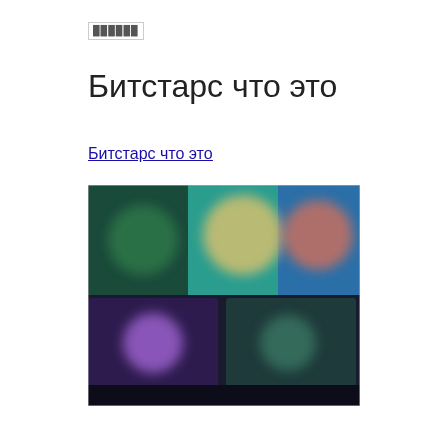██████
Битстарс что это
Битстарс что это
[Figure (screenshot): Blurred screenshot of a gaming or streaming interface showing colorful animated characters and game thumbnails on a dark background]